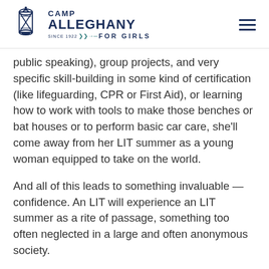Camp Alleghany For Girls
public speaking), group projects, and very specific skill-building in some kind of certification (like lifeguarding, CPR or First Aid), or learning how to work with tools to make those benches or bat houses or to perform basic car care, she'll come away from her LIT summer as a young woman equipped to take on the world.
And all of this leads to something invaluable — confidence. An LIT will experience an LIT summer as a rite of passage, something too often neglected in a large and often anonymous society.
This bridge summer will be so fun for her but at the same time it will provide that seamless support that's